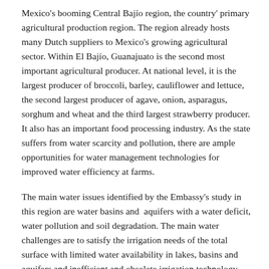Mexico's booming Central Bajío region, the country' primary agricultural production region. The region already hosts many Dutch suppliers to Mexico's growing agricultural sector. Within El Bajío, Guanajuato is the second most important agricultural producer. At national level, it is the largest producer of broccoli, barley, cauliflower and lettuce, the second largest producer of agave, onion, asparagus, sorghum and wheat and the third largest strawberry producer. It also has an important food processing industry. As the state suffers from water scarcity and pollution, there are ample opportunities for water management technologies for improved water efficiency at farms.
The main water issues identified by the Embassy's study in this region are water basins and  aquifers with a water deficit, water pollution and soil degradation. The main water challenges are to satisfy the irrigation needs of the total surface with limited water availability in lakes, basins and aquifers and inefficient and obsolete irrigation technology. There is also limited water reuse and treatment in the state, while in some specific conditions the impact on conservation areas.